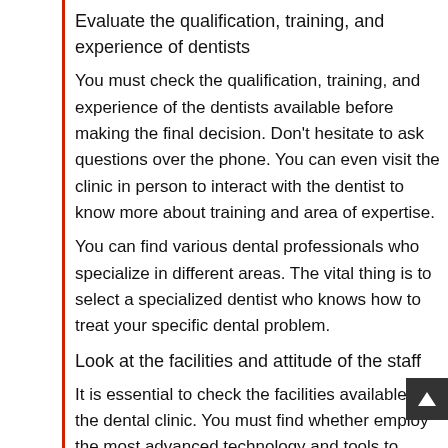Evaluate the qualification, training, and experience of dentists
You must check the qualification, training, and experience of the dentists available before making the final decision. Don’t hesitate to ask questions over the phone. You can even visit the clinic in person to interact with the dentist to know more about training and area of expertise.
You can find various dental professionals who specialize in different areas. The vital thing is to select a specialized dentist who knows how to treat your specific dental problem.
Look at the facilities and attitude of the staff
It is essential to check the facilities available in the dental clinic. You must find whether employ the most advanced technology and tools to deliver the best